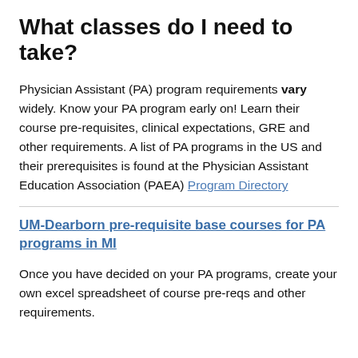What classes do I need to take?
Physician Assistant (PA) program requirements vary widely. Know your PA program early on!  Learn their course pre-requisites, clinical expectations, GRE and other requirements. A list of PA programs in the US and their prerequisites is found at the Physician Assistant Education Association (PAEA) Program Directory
UM-Dearborn pre-requisite base courses for PA programs in MI
Once you have decided on your PA programs, create your own excel spreadsheet of course pre-reqs and other requirements.